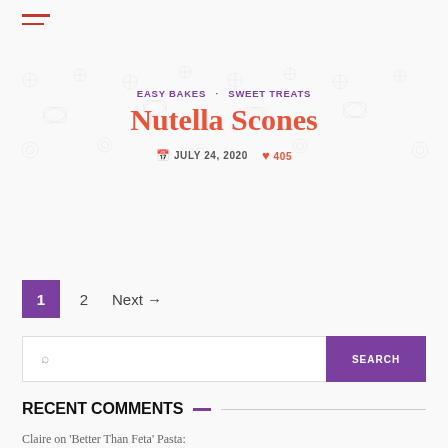Menu (hamburger icon)
Nutella Scones
EASY BAKES · SWEET TREATS
JULY 24, 2020   ♥ 405
1  2  Next →
Search
RECENT COMMENTS
Claire on 'Better Than Feta' Pasta: